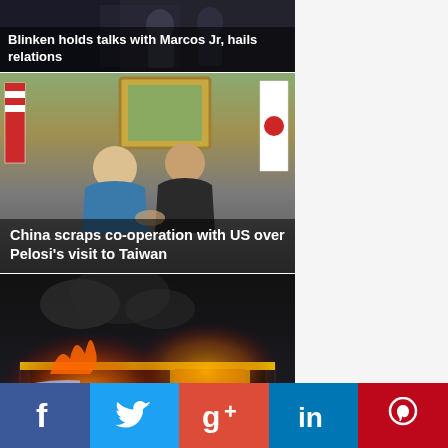[Figure (photo): Blinken holds talks with Marcos Jr, news photo with dark background]
Blinken holds talks with Marcos Jr, hails relations
[Figure (photo): Nancy Pelosi shaking hands with Japanese official, US and Japan flags in background]
China scraps co-operation with US over Pelosi's visit to Taiwan
[Figure (photo): Thai nightclub fire at night, building on fire with emergency responders]
Thai nightclub fire kills 14, PM orders probe
[Figure (photo): Partial news photo at bottom, light colored scene]
[Figure (infographic): Social media sharing bar with Facebook, Twitter, Google+, LinkedIn, Pinterest buttons]